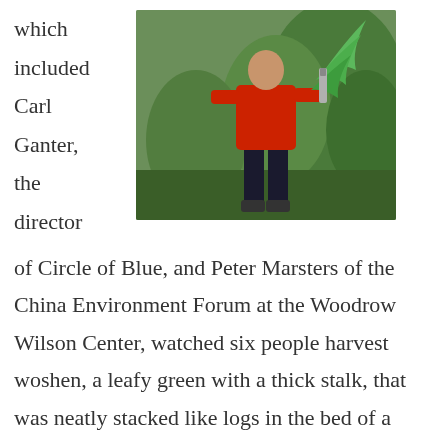which included Carl Ganter, the director
[Figure (photo): Person in red shirt and dark pants standing in a field, holding a large leafy green plant in one hand and a knife-like tool in the other, with lush green vegetation in the background.]
of Circle of Blue, and Peter Marsters of the China Environment Forum at the Woodrow Wilson Center, watched six people harvest woshen, a leafy green with a thick stalk, that was neatly stacked like logs in the bed of a three-wheel motorized cart. They stood in a field no larger than the average American front lawn, patiently holding the heavy green in one hand and removing thick leaves from the stalk with a knife